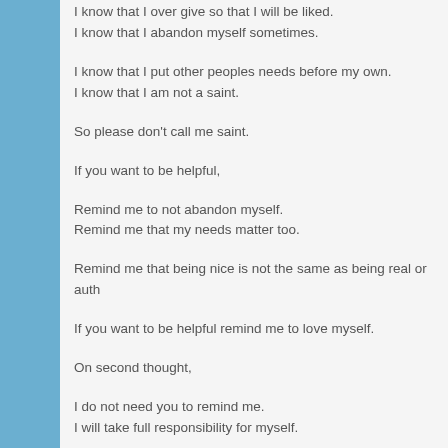I know that I over give so that I will be liked.
I know that I abandon myself sometimes.
I know that I put other peoples needs before my own.
I know that I am not a saint.
So please don't call me saint.
If you want to be helpful,
Remind me to not abandon myself.
Remind me that my needs matter too.
Remind me that being nice is not the same as being real or auth
If you want to be helpful remind me to love myself.
On second thought,
I do not need you to remind me.
I will take full responsibility for myself.